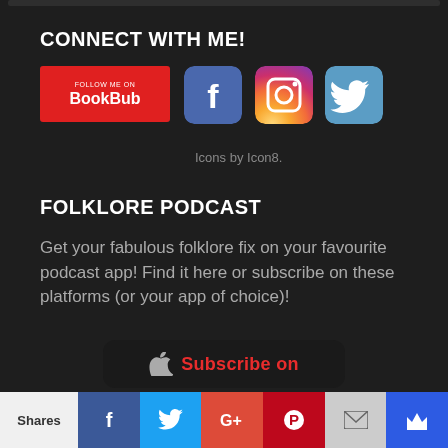CONNECT WITH ME!
[Figure (logo): BookBub Follow Me On button (red background), Facebook icon (blue), Instagram icon (gradient), Twitter icon (blue)]
Icons by Icon8.
FOLKLORE PODCAST
Get your fabulous folklore fix on your favourite podcast app! Find it here or subscribe on these platforms (or your app of choice)!
[Figure (screenshot): Subscribe on button (dark rounded rectangle with red text 'Subscribe on' and apple icon)]
Shares | Facebook | Twitter | Google+ | Pinterest | Email | Crown